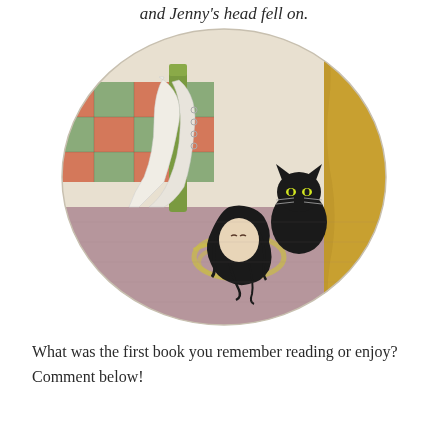and Jenny's head fell off.
[Figure (illustration): Oval-framed vintage illustration showing a bedroom scene: a patchwork quilt on a bed with a green bedpost, a severed doll head with long black hair lying on a purple carpet near a coiled rope, a black cat with glowing eyes peering from behind a yellow curtain on the right, and white fabric draped over the bed.]
What was the first book you remember reading or enjoy? Comment below!